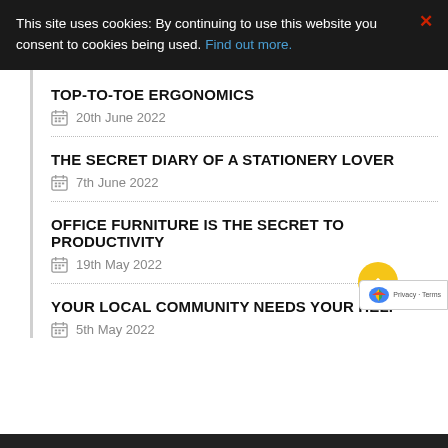This site uses cookies: By continuing to use this website you consent to cookies being used. Find out more.
TOP-TO-TOE ERGONOMICS
20th June 2022
THE SECRET DIARY OF A STATIONERY LOVER
7th June 2022
OFFICE FURNITURE IS THE SECRET TO PRODUCTIVITY
19th May 2022
YOUR LOCAL COMMUNITY NEEDS YOUR HELP
5th May 2022